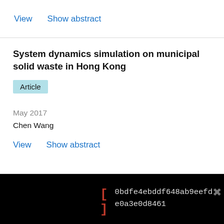View   Show abstract
System dynamics simulation on municipal solid waste in Hong Kong
Article
May 2017
Chen Wang
View   Show abstract
[Figure (screenshot): Black overlay bar with red bracket icon [] and hash text: 0bdfe4ebddf648ab9eefd e0a3e0d8461, with a close X button]
[Figure (screenshot): Advertisement thumbnail showing a laptop with orange background next to text 'Real-Time PCR Handbook 2.0 digital experience']
Real-Time PCR Handbook 2.0 digital experience